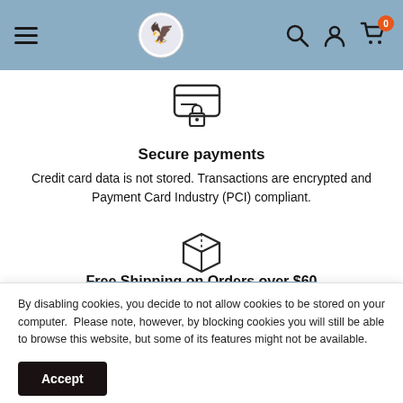[Figure (screenshot): Website navigation header with hamburger menu, logo, search icon, account icon, and cart icon with badge showing 0]
[Figure (illustration): Secure payment icon: credit card with padlock]
Secure payments
Credit card data is not stored. Transactions are encrypted and Payment Card Industry (PCI) compliant.
[Figure (illustration): Package/box icon for shipping]
Free Shipping on Orders over $60
By disabling cookies, you decide to not allow cookies to be stored on your computer.  Please note, however, by blocking cookies you will still be able to browse this website, but some of its features might not be available.
Accept
Satisfied or refunded